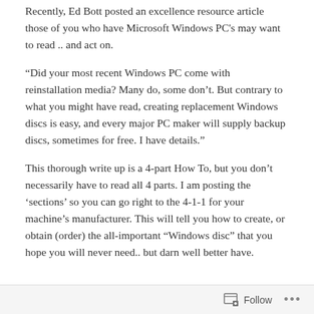Recently, Ed Bott posted an excellence resource article those of you who have Microsoft Windows PC's may want to read .. and act on.
“Did your most recent Windows PC come with reinstallation media? Many do, some don’t. But contrary to what you might have read, creating replacement Windows discs is easy, and every major PC maker will supply backup discs, sometimes for free. I have details.”
This thorough write up is a 4-part How To, but you don’t necessarily have to read all 4 parts. I am posting the ‘sections’ so you can go right to the 4-1-1 for your machine’s manufacturer. This will tell you how to create, or obtain (order) the all-important “Windows disc” that you hope you will never need.. but darn well better have.
Follow